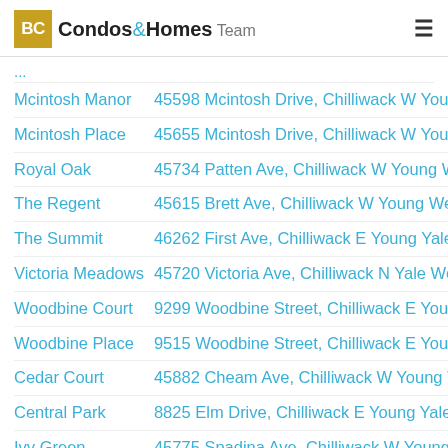BC Condos & Homes Team
| Name | Address |
| --- | --- |
| Mcintosh Manor | 45598 Mcintosh Drive, Chilliwack W Young Wel |
| Mcintosh Place | 45655 Mcintosh Drive, Chilliwack W Young Wel |
| Royal Oak | 45734 Patten Ave, Chilliwack W Young Well |
| The Regent | 45615 Brett Ave, Chilliwack W Young Well |
| The Summit | 46262 First Ave, Chilliwack E Young Yale |
| Victoria Meadows | 45720 Victoria Ave, Chilliwack N Yale Well |
| Woodbine Court | 9299 Woodbine Street, Chilliwack E Young Yale |
| Woodbine Place | 9515 Woodbine Street, Chilliwack E Young Yale |
| Cedar Court | 45882 Cheam Ave, Chilliwack W Young Well |
| Central Park | 8825 Elm Drive, Chilliwack E Young Yale |
| Ivy Green | 45775 Spadina Ave, Chilliwack W Young Well |
| New Mark | 9422 Victor Street, Chilliwack N Yale Well |
| Parkside | 8880 Newell Street, Chilliwack E Young Yale |